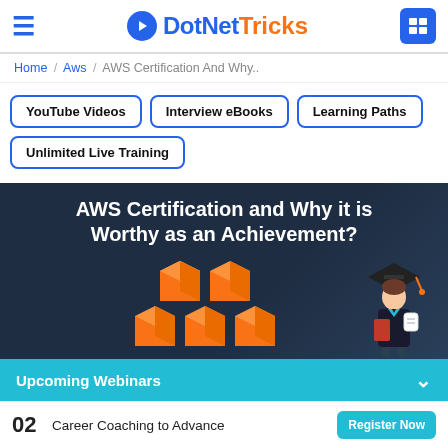DotNetTricks
Home / Aws / AWS Certification And Why..
YouTube Videos
Interview eBooks
Learning Paths
Unlimited Live Training
[Figure (illustration): Hero banner with dark blue background showing text 'AWS Certification and Why it is Worthy as an Achievement?' with orange 3D cubes and a graduate illustration]
Upcoming Webinars
02  Career Coaching to Advance  Register Now